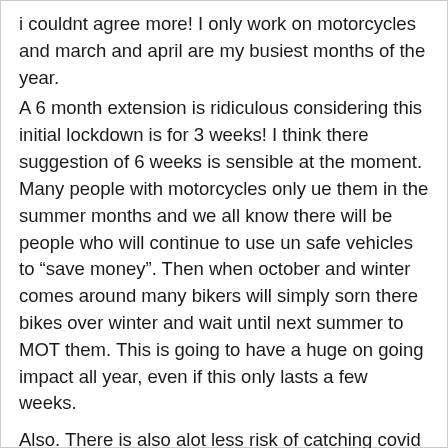i couldnt agree more! I only work on motorcycles and march and april are my busiest months of the year.
A 6 month extension is ridiculous considering this initial lockdown is for 3 weeks! I think there suggestion of 6 weeks is sensible at the moment. Many people with motorcycles only ue them in the summer months and we all know there will be people who will continue to use un safe vehicles to “save money”. Then when october and winter comes around many bikers will simply sorn there bikes over winter and wait until next summer to MOT them. This is going to have a huge on going impact all year, even if this only lasts a few weeks.
Also. There is also alot less risk of catching covid